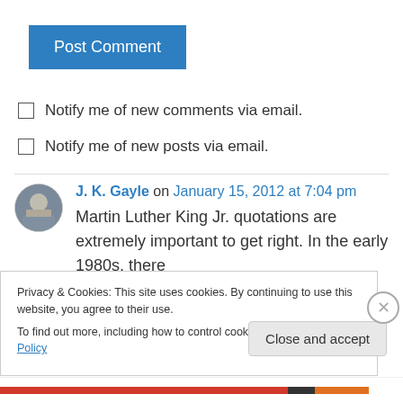[Figure (other): Blue 'Post Comment' button]
Notify me of new comments via email.
Notify me of new posts via email.
J. K. Gayle on January 15, 2012 at 7:04 pm
Martin Luther King Jr. quotations are extremely important to get right. In the early 1980s, there began serious allegations that King was a
Privacy & Cookies: This site uses cookies. By continuing to use this website, you agree to their use.
To find out more, including how to control cookies, see here: Cookie Policy
Close and accept